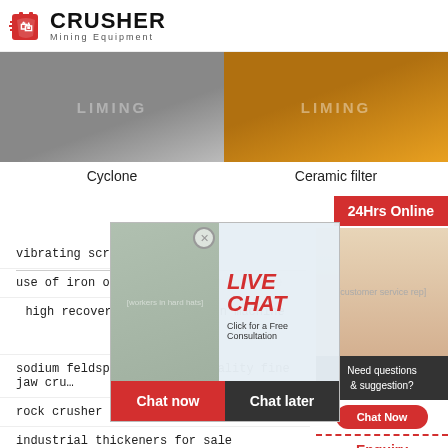[Figure (logo): Crusher Mining Equipment logo with red shopping bag icon and bold CRUSHER text]
[Figure (photo): Left: Gray industrial building with LIMING text overlay]
[Figure (photo): Right: Yellow heavy machinery truck with LIMING text overlay]
Cyclone
Ceramic filter
[Figure (screenshot): Live chat popup overlay with workers in hard hats, LIVE CHAT heading, Chat now and Chat later buttons]
[Figure (screenshot): Right sidebar with customer service rep photo, 24Hrs Online bar, Need questions & suggestion, Chat Now, Enquiry, limingjlmofen@sina.com]
vibrating scr...
use of iron ore beneficiation machine
high recovery rate flotation machine mineral processing machine
sodium feldspar lump high quality fine jaw cru...
rock crusher for gold processing
industrial thickeners for sale